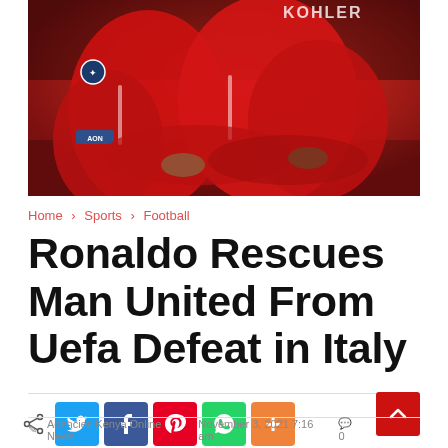[Figure (photo): Two Manchester United players in red jerseys celebrating, one hugging the other from behind. A UEFA Champions League badge is visible on the jersey. The photo is taken in a stadium setting.]
Home > Sports > Football
Ronaldo Rescues Man United From Uefa Defeat in Italy
Social share buttons: Share, Twitter, Facebook, Pinterest, WhatsApp, More
Agencies Kenya Online News   November 3, 2021 7:16 am   0